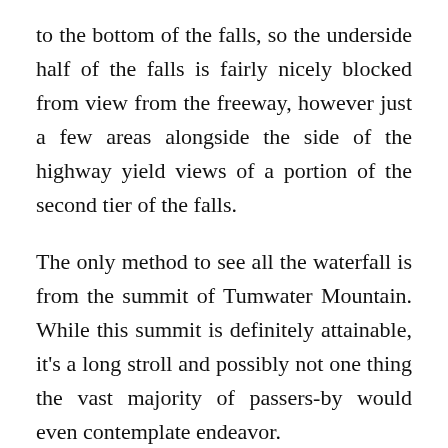to the bottom of the falls, so the underside half of the falls is fairly nicely blocked from view from the freeway, however just a few areas alongside the side of the highway yield views of a portion of the second tier of the falls.
The only method to see all the waterfall is from the summit of Tumwater Mountain. While this summit is definitely attainable, it's a long stroll and possibly not one thing the vast majority of passers-by would even contemplate endeavor.
Drury Falls Name and History